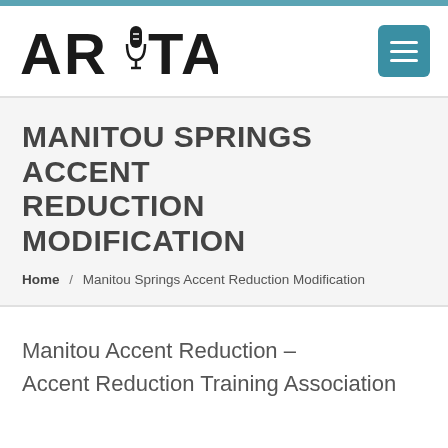[Figure (logo): ARITA logo with microphone icon between AR and TA text]
MANITOU SPRINGS ACCENT REDUCTION MODIFICATION
Home / Manitou Springs Accent Reduction Modification
Manitou Accent Reduction – Accent Reduction Training Association